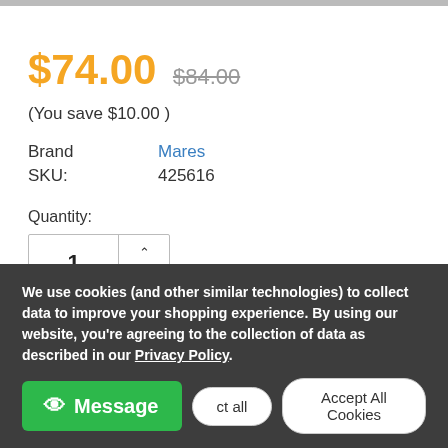$74.00  $84.00
(You save $10.00 )
Brand   Mares
SKU:   425616
Quantity:
[Figure (other): Quantity input spinner showing value 1 with up/down arrows]
We use cookies (and other similar technologies) to collect data to improve your shopping experience. By using our website, you're agreeing to the collection of data as described in our Privacy Policy.
Message  ct all  Accept All Cookies